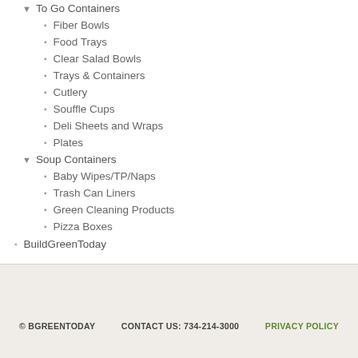To Go Containers
Fiber Bowls
Food Trays
Clear Salad Bowls
Trays & Containers
Cutlery
Souffle Cups
Deli Sheets and Wraps
Plates
Soup Containers
Baby Wipes/TP/Naps
Trash Can Liners
Green Cleaning Products
Pizza Boxes
BuildGreenToday
© BGREENTODAY    CONTACT US: 734-214-3000    PRIVACY POLICY